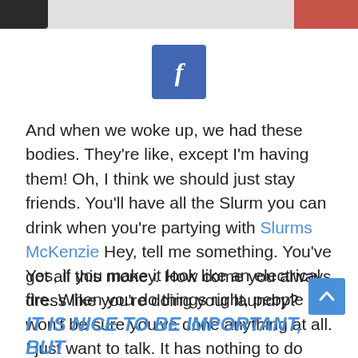[Figure (photo): Partial photo strip at top of page showing dark and red elements]
[Figure (logo): Facebook share button — blue square with white italic f]
And when we woke up, we had these bodies. They're like, except I'm having them! Oh, I think we should just stay friends. You'll have all the Slurm you can drink when you're partying with Slurms McKenzie Hey, tell me something. You've got all this money. How come you always dress like you're doing your laundry?
Yes, if you make it look like an electrical fire. When you do things right, people won't be sure you've done anything at all. I just want to talk. It has nothing to do with mating. Fry, that doesn't make sense. Quite possible.
IT IS NICE TO BE IMPORTANT, BUT